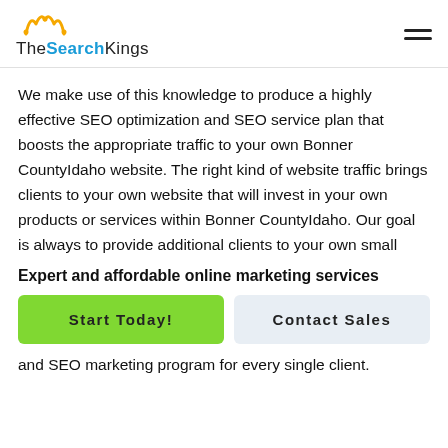TheSearchKings
We make use of this knowledge to produce a highly effective SEO optimization and SEO service plan that boosts the appropriate traffic to your own Bonner CountyIdaho website. The right kind of website traffic brings clients to your own website that will invest in your own products or services within Bonner CountyIdaho. Our goal is always to provide additional clients to your own small
Expert and affordable online marketing services
Start Today!
Contact Sales
and SEO marketing program for every single client.